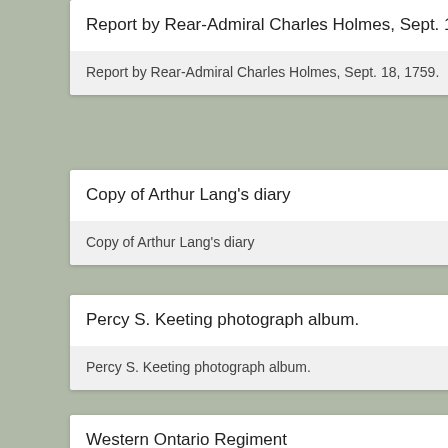Report by Rear-Admiral Charles Holmes, Sept. 18, 1759.
Report by Rear-Admiral Charles Holmes, Sept. 18, 1759.
Copy of Arthur Lang's diary
Copy of Arthur Lang's diary
Percy S. Keeting photograph album.
Percy S. Keeting photograph album.
Western Ontario Regiment